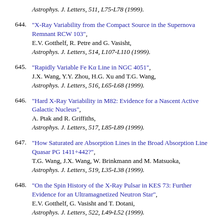Astrophys. J. Letters, 511, L75-L78 (1999).
644. "X-Ray Variability from the Compact Source in the Supernova Remnant RCW 103", E.V. Gotthelf, R. Petre and G. Vasisht, Astrophys. J. Letters, 514, L107-L110 (1999).
645. "Rapidly Variable Fe Kα Line in NGC 4051", J.X. Wang, Y.Y. Zhou, H.G. Xu and T.G. Wang, Astrophys. J. Letters, 516, L65-L68 (1999).
646. "Hard X-Ray Variability in M82: Evidence for a Nascent Active Galactic Nucleus", A. Ptak and R. Griffiths, Astrophys. J. Letters, 517, L85-L89 (1999).
647. "How Saturated are Absorption Lines in the Broad Absorption Line Quasar PG 1411+442?", T.G. Wang, J.X. Wang, W. Brinkmann and M. Matsuoka, Astrophys. J. Letters, 519, L35-L38 (1999).
648. "On the Spin History of the X-Ray Pulsar in KES 73: Further Evidence for an Ultramagnetized Neutron Star", E.V. Gotthelf, G. Vasisht and T. Dotani, Astrophys. J. Letters, 522, L49-L52 (1999).
649. "The Properties of the Relativistic Iron K-Line in NGC 3516", K. Nandra, I.M. George, R.F. Mushotzky, T.J. Turner and T. Yaqoob, Astrophys. J. Letters, 523, L17-L20 (1999).